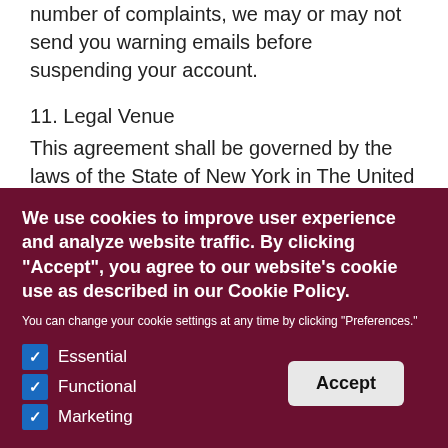number of complaints, we may or may not send you warning emails before suspending your account.
11. Legal Venue
This agreement shall be governed by the laws of the State of New York in The United States of America, excluding that body of law known as conflicts of law and the United Nations
We use cookies to improve user experience and analyze website traffic. By clicking “Accept”, you agree to our website's cookie use as described in our Cookie Policy.
You can change your cookie settings at any time by clicking "Preferences."
Essential
Functional
Marketing